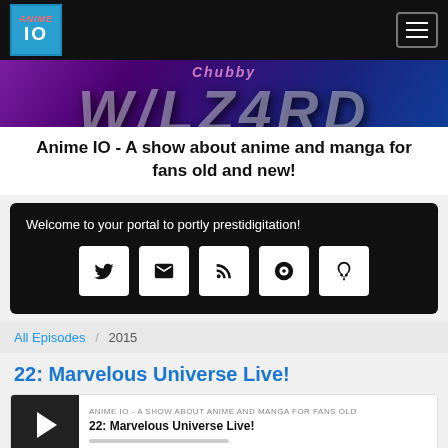Anime IO
[Figure (illustration): Anime IO banner with colorful wizard text graphic and white overlay showing site tagline]
Anime IO - A show about anime and manga for fans old and new!
Welcome to your portal to portly prestidigitation!
All Episodes / 2015
22: Marvelous Universe Live!
ANIME IO - A SHOW ABOUT ANIME AND MANGA FOR FANS OLD
22: Marvelous Universe Live!